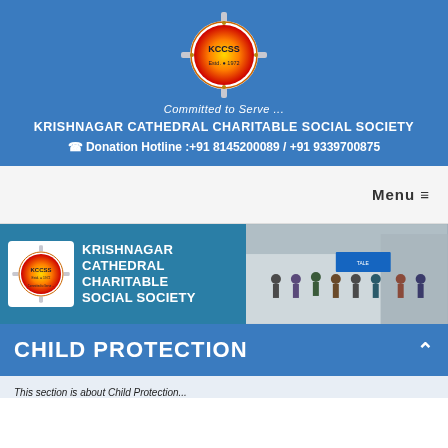[Figure (logo): KCCSS circular logo with cross, red-to-yellow gradient circle, 'Estd. 1972' text]
Committed to Serve ...
KRISHNAGAR CATHEDRAL CHARITABLE SOCIAL SOCIETY
Donation Hotline :+91 8145200089 / +91 9339700875
Menu ≡
[Figure (screenshot): Banner with KCCSS logo, text 'KRISHNAGAR CATHEDRAL CHARITABLE SOCIAL SOCIETY' on teal background, and a photo of people standing in front of a building with a banner]
CHILD PROTECTION
This section is about Child Protection...